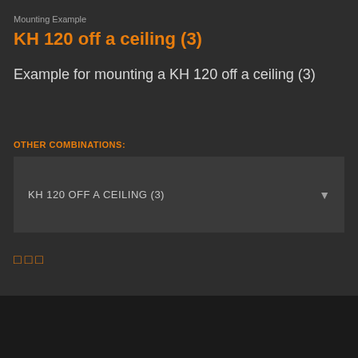Mounting Example
KH 120 off a ceiling (3)
Example for mounting a KH 120 off a ceiling (3)
OTHER COMBINATIONS:
[Figure (screenshot): Dropdown selector showing 'KH 120 OFF A CEILING (3)' with a down arrow on the right side]
□□□
■■■■